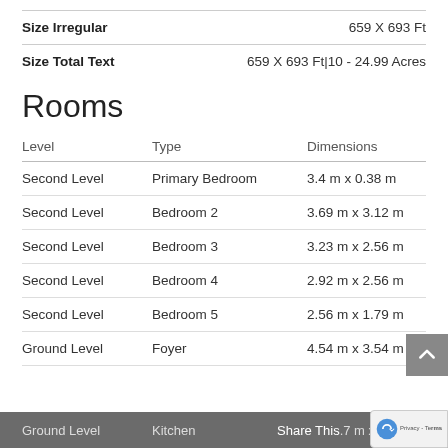| Size Irregular | 659 X 693 Ft |
| Size Total Text | 659 X 693 Ft|10 - 24.99 Acres |
Rooms
| Level | Type | Dimensions |
| --- | --- | --- |
| Second Level | Primary Bedroom | 3.4 m x 0.38 m |
| Second Level | Bedroom 2 | 3.69 m x 3.12 m |
| Second Level | Bedroom 3 | 3.23 m x 2.56 m |
| Second Level | Bedroom 4 | 2.92 m x 2.56 m |
| Second Level | Bedroom 5 | 2.56 m x 1.79 m |
| Ground Level | Foyer | 4.54 m x 3.54 m |
| Ground Level | Kitchen | ...7 m x 4.4 m |
Share This